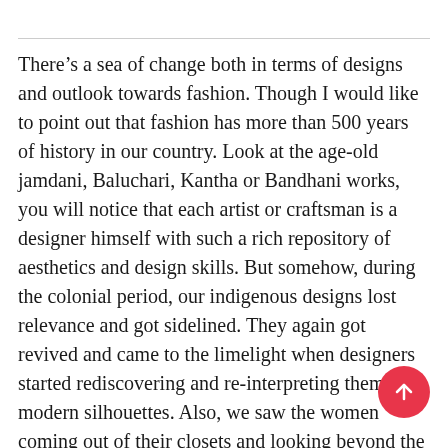There's a sea of change both in terms of designs and outlook towards fashion. Though I would like to point out that fashion has more than 500 years of history in our country. Look at the age-old jamdani, Baluchari, Kantha or Bandhani works, you will notice that each artist or craftsman is a designer himself with such a rich repository of aesthetics and design skills. But somehow, during the colonial period, our indigenous designs lost relevance and got sidelined. They again got revived and came to the limelight when designers started rediscovering and re-interpreting them in modern silhouettes. Also, we saw the women coming out of their closets and looking beyond the traditional sari look, experimenting with salwars and kurtis.

Now, with the world opening up in the post-digital revolution era, there's a beautiful global influence in
[Figure (other): Red circular floating action button with an upward arrow icon in the bottom-right corner of the page.]